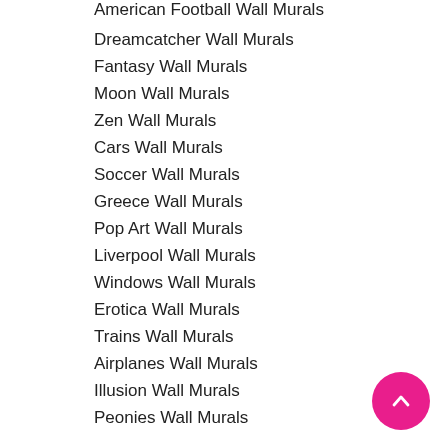American Football Wall Murals
Dreamcatcher Wall Murals
Fantasy Wall Murals
Moon Wall Murals
Zen Wall Murals
Cars Wall Murals
Soccer Wall Murals
Greece Wall Murals
Pop Art Wall Murals
Liverpool Wall Murals
Windows Wall Murals
Erotica Wall Murals
Trains Wall Murals
Airplanes Wall Murals
Illusion Wall Murals
Peonies Wall Murals